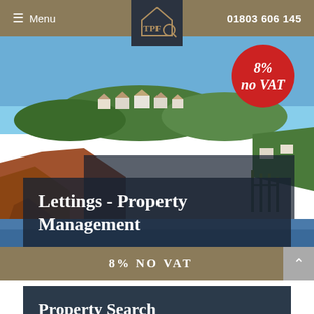Menu | TPFLQ | 01803 606 145
[Figure (photo): Coastal town landscape with red sandstone cliffs, white houses on a hillside, trees, and blue sky.]
Lettings - Property Management
8% NO VAT
Property Search Consultant